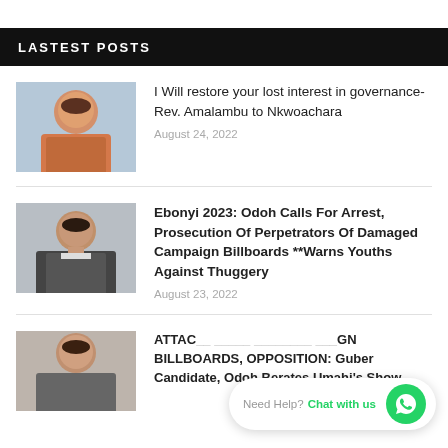LASTEST POSTS
[Figure (photo): Headshot of a man in a colorful shirt against a light blue background]
I Will restore your lost interest in governance- Rev. Amalambu to Nkwoachara
August 24, 2022
[Figure (photo): Headshot of a man in a dark suit and tie against a light gray background]
Ebonyi 2023: Odoh Calls For Arrest, Prosecution Of Perpetrators Of Damaged Campaign Billboards **Warns Youths Against Thuggery
August 23, 2022
[Figure (photo): Headshot of a man partially visible at bottom of page]
ATTAC... ..... ......... ...GN BILLBOARDS, OPPOSITION: Guber Candidate, Odoh Berates Umahi's Show